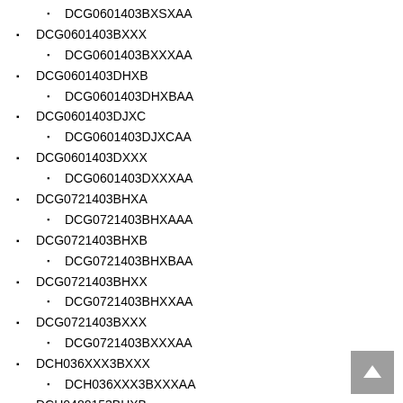DCG0601403BXSXAA
DCG0601403BXXX
DCG0601403BXXXAA
DCG0601403DHXB
DCG0601403DHXBAA
DCG0601403DJXC
DCG0601403DJXCAA
DCG0601403DXXX
DCG0601403DXXXAA
DCG0721403BHXA
DCG0721403BHXAAA
DCG0721403BHXB
DCG0721403BHXBAA
DCG0721403BHXX
DCG0721403BHXXAA
DCG0721403BXXX
DCG0721403BXXXAA
DCH036XXX3BXXX
DCH036XXX3BXXXAA
DCH0480153BHXB